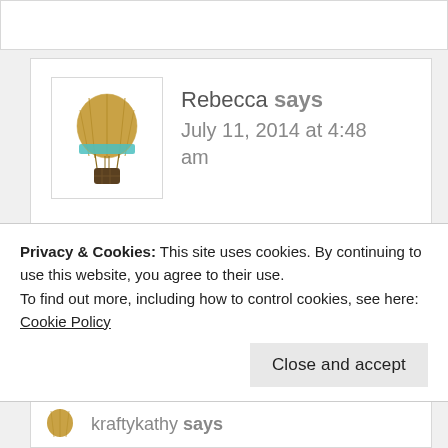[Figure (illustration): Hot air balloon avatar icon — golden balloon with teal stripe, small basket below, on white background in a bordered square]
Rebecca says
July 11, 2014 at 4:48 am
If I was in Vegas, I would lounge by the pool with some awesome drinks and soak up the sun!
Privacy & Cookies: This site uses cookies. By continuing to use this website, you agree to their use.
To find out more, including how to control cookies, see here: Cookie Policy
Close and accept
kraftykathy says